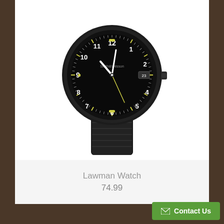[Figure (photo): A Smith & Wesson Lawman tactical watch with a black rubber case, black dial with luminous hour markers and hands, date window at 3 o'clock, and black velcro/fabric strap.]
Lawman Watch
74.99
Contact Us